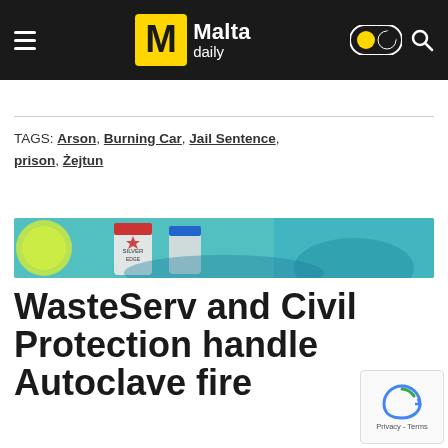Malta daily
TAGS: Arson, Burning Car, Jail Sentence, prison, Żejtun
[Figure (photo): Close-up photo of aerosol cans and bottles with a teal/turquoise background]
WasteServ and Civil Protection handle Autoclave fire